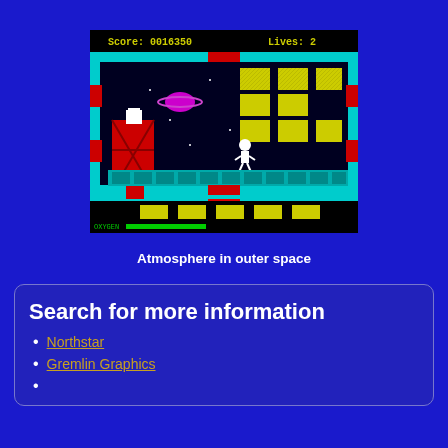[Figure (screenshot): ZX Spectrum game screenshot showing a platform game in outer space. Score: 0016350, Lives: 2 displayed at the top in yellow on black. Cyan border frame, red blocks, yellow textured platform blocks, a pink/magenta Saturn-like planet, white stars, white astronaut character walking, and a red scaffolding tower. Bottom shows yellow rectangular blocks. OXYGEN label in bottom left.]
Atmosphere in outer space
Search for more information
Northstar
Gremlin Graphics